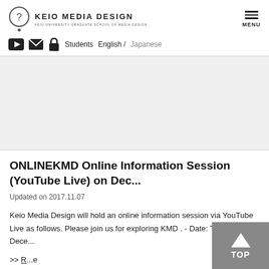KEIO MEDIA DESIGN | KEIO UNIVERSITY GRADUATE SCHOOL OF MEDIA DESIGN
Students  English / Japanese
[Figure (other): Large banner/image placeholder area, light gray background]
￼ONLINE￼KMD Online Information Session (YouTube Live) on Dec...
Updated on 2017.11.07
Keio Media Design will hold an online information session via YouTube Live as follows. Please join us for exploring KMD . - Date: Thursday, Dece...
>> R... e
TOP